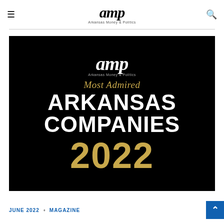amp Arkansas Money & Politics
[Figure (illustration): AMP (Arkansas Money & Politics) branded promotional image on black background. Shows AMP logo in white at top, subtitle 'Arkansas Money & Politics' in small grey text, italic gold text 'Most Admired', bold white text 'ARKANSAS COMPANIES', and large gold '2022' below.]
JUNE 2022 ◆ MAGAZINE